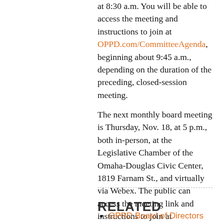at 8:30 a.m. You will be able to access the meeting and instructions to join at OPPD.com/CommitteeAgenda, beginning about 9:45 a.m., depending on the duration of the preceding, closed-session meeting.
The next monthly board meeting is Thursday, Nov. 18, at 5 p.m., both in-person, at the Legislative Chamber of the Omaha-Douglas Civic Center, 1819 Farnam St., and virtually via Webex. The public can access the meeting link and instructions to join at OPPD.com/BoardAgenda, beginning at 4:45 p.m.
RELATED
OPPD Board of Directors selects VP & CFO Javier Fernandez to